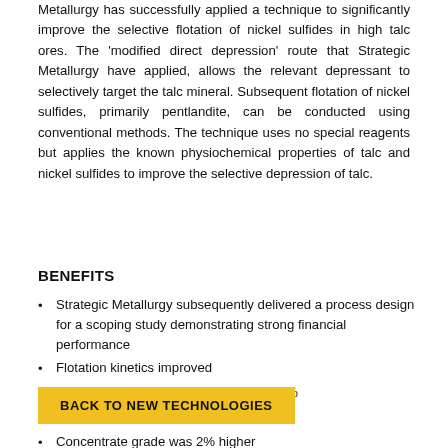Metallurgy has successfully applied a technique to significantly improve the selective flotation of nickel sulfides in high talc ores. The 'modified direct depression' route that Strategic Metallurgy have applied, allows the relevant depressant to selectively target the talc mineral. Subsequent flotation of nickel sulfides, primarily pentlandite, can be conducted using conventional methods. The technique uses no special reagents but applies the known physiochemical properties of talc and nickel sulfides to improve the selective depression of talc.
BENEFITS
Strategic Metallurgy subsequently delivered a process design for a scoping study demonstrating strong financial performance
Flotation kinetics improved
Overall nickel recovery increased by 35%
Final recovery 85%
Concentrate grade was 2% higher
BACK TO NEW TECHNOLOGIES